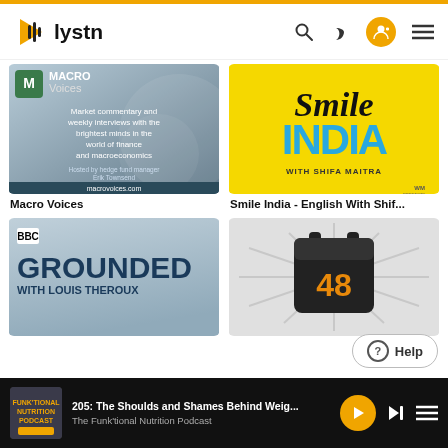lystn app header with search, theme toggle, profile, and menu icons
[Figure (screenshot): Macro Voices podcast thumbnail - market commentary and weekly interviews with the brightest minds in the world of finance and macroeconomics. Hosted by hedge fund manager Erik Townsend. macrovoices.com]
Macro Voices
[Figure (screenshot): Smile India - English With Shifa Maitra podcast thumbnail on yellow background]
Smile India - English With Shif...
[Figure (screenshot): BBC Grounded With Louis Theroux podcast thumbnail]
[Figure (screenshot): Calendar icon podcast thumbnail with number 48]
205: The Shoulds and Shames Behind Weig... | The Funk'tional Nutrition Podcast
Help